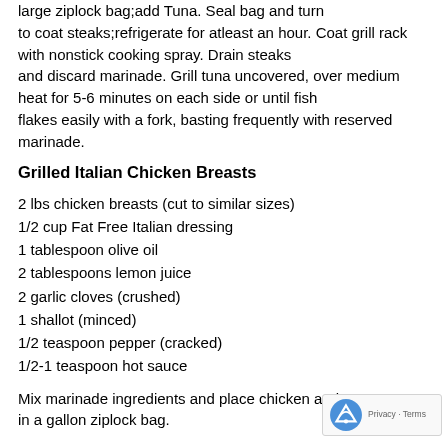large ziplock bag;add Tuna. Seal bag and turn to coat steaks;refrigerate for atleast an hour. Coat grill rack with nonstick cooking spray. Drain steaks and discard marinade. Grill tuna uncovered, over medium heat for 5-6 minutes on each side or until fish flakes easily with a fork, basting frequently with reserved marinade.
Grilled Italian Chicken Breasts
2 lbs chicken breasts (cut to similar sizes)
1/2 cup Fat Free Italian dressing
1 tablespoon olive oil
2 tablespoons lemon juice
2 garlic cloves (crushed)
1 shallot (minced)
1/2 teaspoon pepper (cracked)
1/2-1 teaspoon hot sauce
Mix marinade ingredients and place chicken and ma... in a gallon ziplock bag.